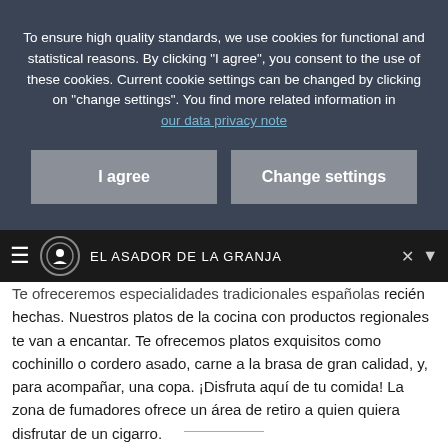To ensure high quality standards, we use cookies for functional and statistical reasons. By clicking "I agree", you consent to the use of these cookies. Current cookie settings can be changed by clicking on "change settings". You find more related information in our data privacy note
[Figure (screenshot): Cookie consent overlay with two buttons: 'I agree' and 'Change settings' on a dark blue-grey background]
≡  EL ASADOR DE LA GRANJA  ✕ ▼
Te ofreceremos especialidades tradicionales españolas recién hechas. Nuestros platos de la cocina con productos regionales te van a encantar. Te ofrecemos platos exquisitos como cochinillo o cordero asado, carne a la brasa de gran calidad, y, para acompañar, una copa. ¡Disfruta aquí de tu comida! La zona de fumadores ofrece un área de retiro a quien quiera disfrutar de un cigarro.